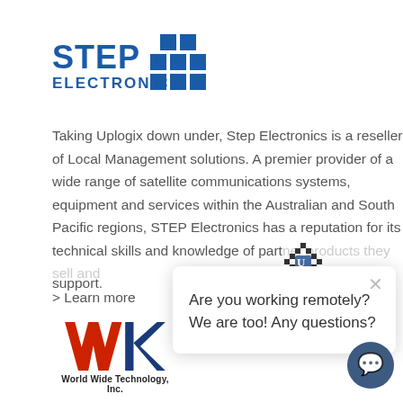[Figure (logo): STEP Electronics logo with blue text and blue grid/squares icon]
Taking Uplogix down under, Step Electronics is a reseller of Local Management solutions. A premier provider of a wide range of satellite communications systems, equipment and services within the Australian and South Pacific regions, STEP Electronics has a reputation for its technical skills and knowledge of partner products they sell and support.
> Learn more
Are you working remotely? We are too! Any questions?
[Figure (logo): World Wide Technology, Inc. logo with red/blue WWT letters and company name]